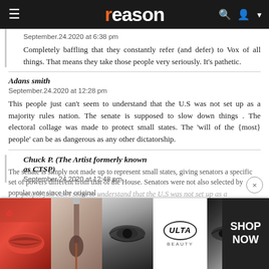reason
September.24.2020 at 6:38 pm
Completely baffling that they constantly refer (and defer) to Vox of all things. That means they take those people very seriously. It's pathetic.
Adans smith
September.24.2020 at 12:28 pm
This people just can't seem to understand that the U.S was not set up as a majority rules nation. The senate is supposed to slow down things . The electoral collage was made to protect small states. The 'will of the {most} people' can be as dangerous as any other dictatorship.
Chuck P. (The Artist formerly known as CTSP)
September.24.2020 at 12:48 pm
[Figure (screenshot): ULTA Beauty advertisement banner with makeup images and SHOP NOW text]